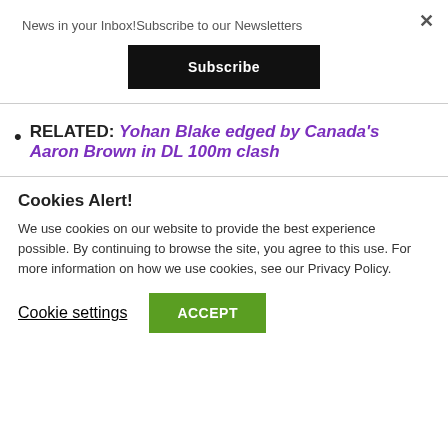News in your Inbox!Subscribe to our Newsletters
Subscribe
RELATED: Yohan Blake edged by Canada's Aaron Brown in DL 100m clash
Cookies Alert!
We use cookies on our website to provide the best experience possible. By continuing to browse the site, you agree to this use. For more information on how we use cookies, see our Privacy Policy.
Cookie settings
ACCEPT